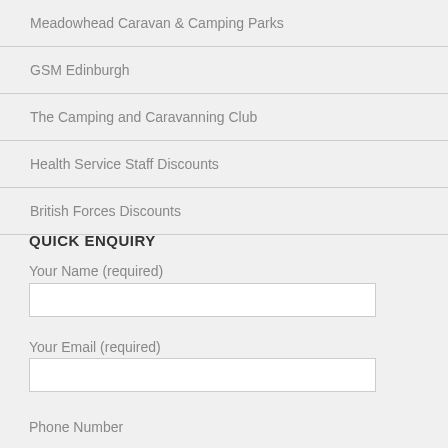Meadowhead Caravan & Camping Parks
GSM Edinburgh
The Camping and Caravanning Club
Health Service Staff Discounts
British Forces Discounts
QUICK ENQUIRY
Your Name (required)
Your Email (required)
Phone Number